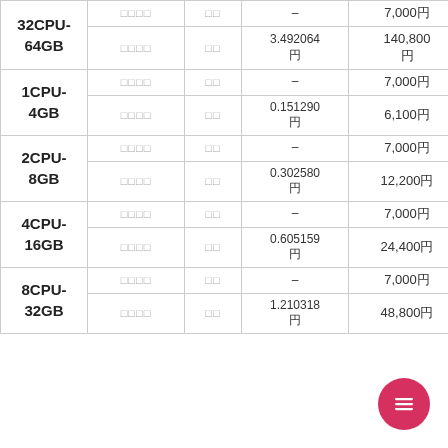| 仕様 | 種別 | 単位 | 単価 | 月額 |
| --- | --- | --- | --- | --- |
| 32CPU-64GB | □□□□ | □□ | – | 7,000円 |
| 32CPU-64GB | □□□□ | □□ | 3.492064円 | 140,800円 |
| 1CPU-4GB | □□□□ | □□ | – | 7,000円 |
| 1CPU-4GB | □□□□ | □□ | 0.151290円 | 6,100円 |
| 2CPU-8GB | □□□□ | □□ | – | 7,000円 |
| 2CPU-8GB | □□□□ | □□ | 0.302580円 | 12,200円 |
| 4CPU-16GB | □□□□ | □□ | – | 7,000円 |
| 4CPU-16GB | □□□□ | □□ | 0.605159円 | 24,400円 |
| 8CPU-32GB | □□□□ | □□ | – | 7,000円 |
| 8CPU-32GB | □□□□ | □□ | 1.210318円 | 48,800円 |